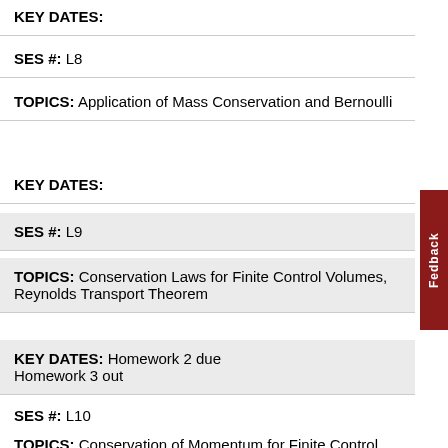KEY DATES:
SES #: L8
TOPICS: Application of Mass Conservation and Bernoulli
KEY DATES:
SES #: L9
TOPICS: Conservation Laws for Finite Control Volumes, Reynolds Transport Theorem
KEY DATES: Homework 2 due
Homework 3 out
SES #: L10
TOPICS: Conservation of Momentum for Finite Control Volumes